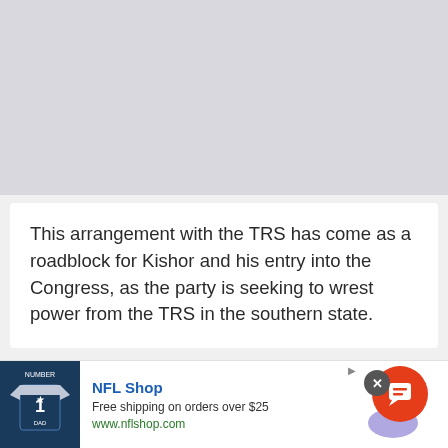[Figure (other): Gray placeholder image area at the top of the page]
This arrangement with the TRS has come as a roadblock for Kishor and his entry into the Congress, as the party is seeking to wrest power from the TRS in the southern state.
[Figure (other): Advertisement banner for NFL Shop showing a Dallas Cowboys jersey, text: NFL Shop, Free shipping on orders over $25, www.nflshop.com. Includes a close button (x) and an orange chat/notification button.]